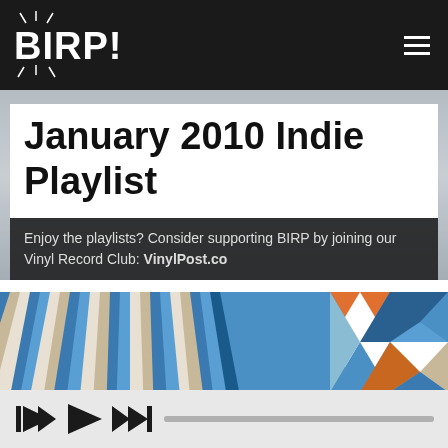BIRP!
January 2010 Indie Playlist
Enjoy the playlists? Consider supporting BIRP by joining our Vinyl Record Club: VinylPost.co
[Figure (photo): Colorful abstract striped vinyl record artwork with geometric patterns in blue, brown, white and orange on the right side]
[Figure (other): Music player controls: skip-back, play, and skip-forward buttons with a progress bar]